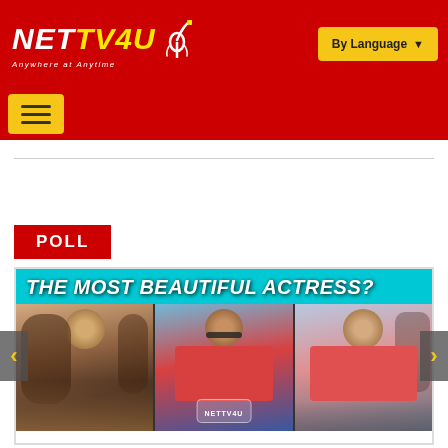NETTV4U — Anywhere at Anytime | By Language
[Figure (screenshot): NETTV4U website navigation bar with red background, yellow logo text, and By Language dropdown button]
POLL
[Figure (photo): Poll carousel showing THE MOST BEAUTIFUL ACTRESS? with three Bollywood actress photos and navigation arrows]